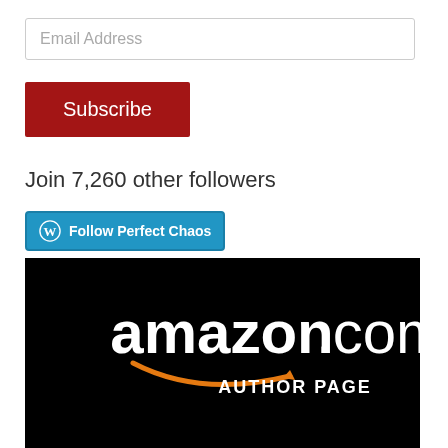Email Address
Subscribe
Join 7,260 other followers
Follow Perfect Chaos
[Figure (logo): Amazon.com AUTHOR PAGE banner on black background with orange smile arrow]